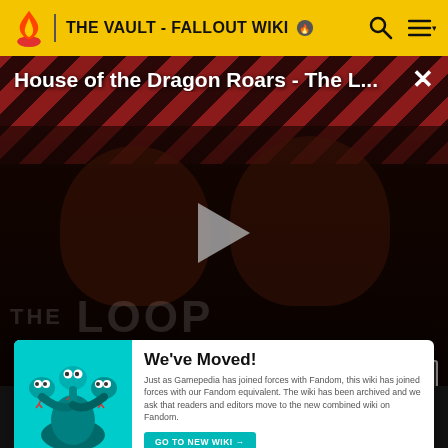THE VAULT - FALLOUT WIKI
[Figure (screenshot): Video player showing 'House of the Dragon Roars - The L...' with a dark overlay, play button, diagonal stripe pattern background in red/dark red, two figures visible, 'THE LOOP' watermark text, and time display showing NaN:NaN]
and a "curious nose sensor" mounted on the jar containing its preserved brain, allowing the gun to sense its
[Figure (illustration): We've Moved banner with a teal/cyan background showing a multi-headed snake/hydra creature illustration on the left, and text 'We've Moved!' with description 'Just as Gamepedia has joined forces with Fandom, this wiki has joined forces with our Fandom equivalent. The wiki has been archived and we ask that readers and editors move to the new combined wiki on Fandom.' and a teal button 'GO TO NEW WIKI →']